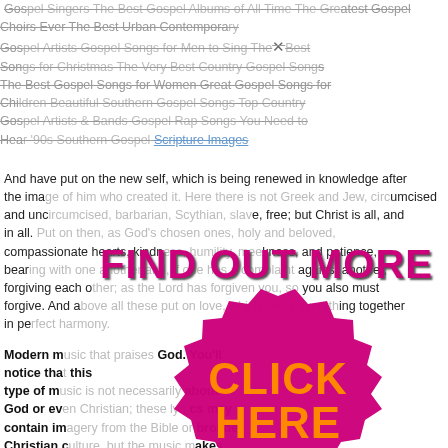Gospel Singers The Best Gospel Albums of All Time The Greatest Gospel Choirs Ever The Best Urban Contemporary Gospel Artists Gospel Songs for Men to Sing The Best Songs for Christmas The Very Best Country Gospel Songs The Best Gospel Songs for Women Great Gospel Songs for Children Beautiful Southern Gospel Songs Top Country Gospel Artists & Bands Gospel Rap Songs You Need to Hear '90s Southern Gospel Scripture Images
And have put on the new self, which is being renewed in knowledge after the image of him who created it. Here there is not Greek and Jew, circumcised and uncircumcised, barbarian, Scythian, slave, free; but Christ is all, and in all. Put on then, as God's chosen ones, holy and beloved, compassionate hearts, kindness, humility, meekness, and patience, bearing with one another and, if one has a complaint against another, forgiving each other; as the Lord has forgiven you, so you also must forgive. And above all these put on love, which binds everything together in perfect harmony.
Modern music that praises God. You'll notice that this type of music is not necessarily about God or even Christian; these lyrics may contain imagery from the Bible or broader Christian culture, but the music makes
[Figure (infographic): Promotional ad banner with 'FIND OUT MORE' text in large magenta/pink Impact font and a gear/starburst badge shape in magenta containing 'CLICK HERE' in large orange Impact font, overlaying the page content.]